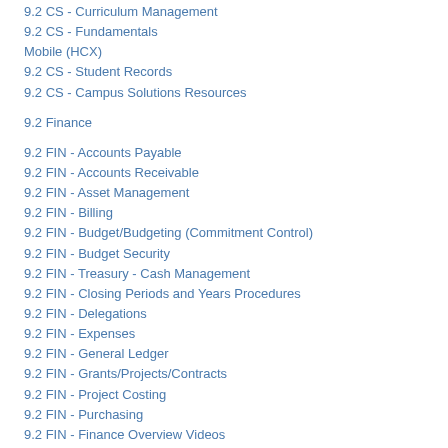9.2 CS - Curriculum Management
9.2 CS - Fundamentals
Mobile (HCX)
9.2 CS - Student Records
9.2 CS - Campus Solutions Resources
9.2 Finance
9.2 FIN - Accounts Payable
9.2 FIN - Accounts Receivable
9.2 FIN - Asset Management
9.2 FIN - Billing
9.2 FIN - Budget/Budgeting (Commitment Control)
9.2 FIN - Budget Security
9.2 FIN - Treasury - Cash Management
9.2 FIN - Closing Periods and Years Procedures
9.2 FIN - Delegations
9.2 FIN - Expenses
9.2 FIN - General Ledger
9.2 FIN - Grants/Projects/Contracts
9.2 FIN - Project Costing
9.2 FIN - Purchasing
9.2 FIN - Finance Overview Videos
9.2 FIN - Finance Resources
FIN - PBCS (WORK IN PROGRESS)